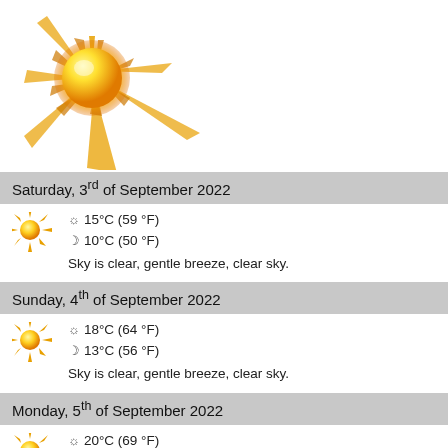[Figure (illustration): Large yellow sun illustration with orange rays on white background]
Saturday, 3rd of September 2022
☀ 15°C (59 °F)
☽ 10°C (50 °F)
Sky is clear, gentle breeze, clear sky.
Sunday, 4th of September 2022
☀ 18°C (64 °F)
☽ 13°C (56 °F)
Sky is clear, gentle breeze, clear sky.
Monday, 5th of September 2022
☀ 20°C (69 °F)